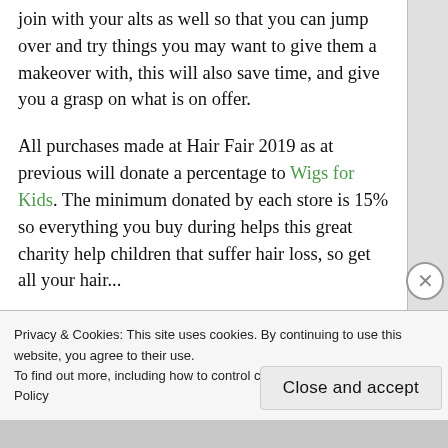join with your alts as well so that you can jump over and try things you may want to give them a makeover with, this will also save time, and give you a grasp on what is on offer.
All purchases made at Hair Fair 2019 as at previous will donate a percentage to Wigs for Kids. The minimum donated by each store is 15% so everything you buy during helps this great charity help children that suffer hair loss, so get all your hair...
Privacy & Cookies: This site uses cookies. By continuing to use this website, you agree to their use. To find out more, including how to control cookies, see here: Cookie Policy
Close and accept